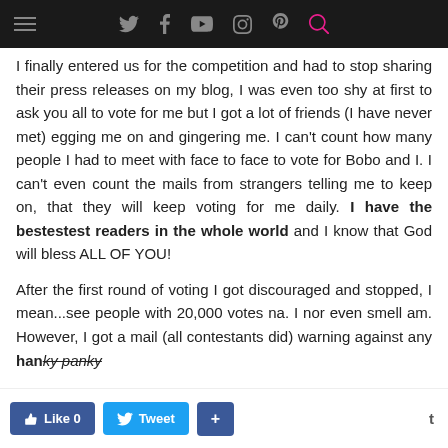Navigation bar with hamburger menu and social icons
I finally entered us for the competition and had to stop sharing their press releases on my blog, I was even too shy at first to ask you all to vote for me but I got a lot of friends (I have never met) egging me on and gingering me. I can't count how many people I had to meet with face to face to vote for Bobo and I. I can't even count the mails from strangers telling me to keep on, that they will keep voting for me daily. I have the bestestest readers in the whole world and I know that God will bless ALL OF YOU!
After the first round of voting I got discouraged and stopped, I mean...see people with 20,000 votes na. I nor even smell am. However, I got a mail (all contestants did) warning against any hanky panky...
Like 0   Tweet   +   t